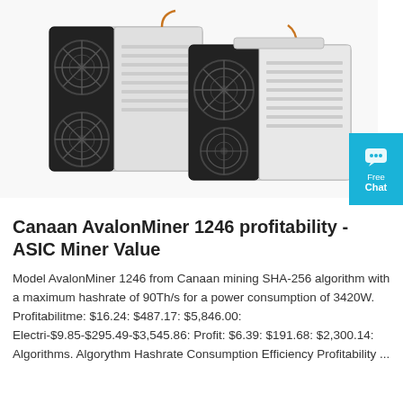[Figure (photo): Two Canaan AvalonMiner 1246 ASIC mining hardware units shown at an angle, with large black cooling fans visible on the sides and front, silver/white metal casing, set against a white background.]
Canaan AvalonMiner 1246 profitability - ASIC Miner Value
Model AvalonMiner 1246 from Canaan mining SHA-256 algorithm with a maximum hashrate of 90Th/s for a power consumption of 3420W. Profitabilitme: $16.24: $487.17: $5,846.00: Electri-$9.85-$295.49-$3,545.86: Profit: $6.39: $191.68: $2,300.14: Algorithms. Algorythm Hashrate Consumption Efficiency Profitability ...